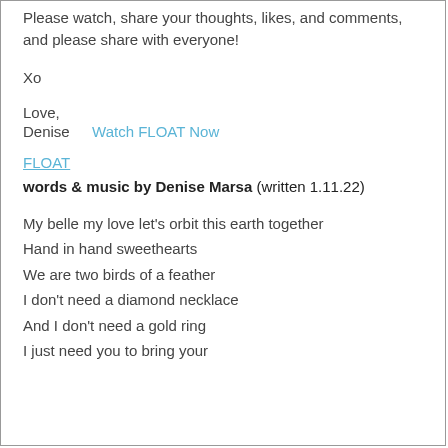Please watch, share your thoughts, likes, and comments, and please share with everyone!
Xo
Love,
Denise   Watch FLOAT Now
FLOAT
words & music by Denise Marsa (written 1.11.22)
My belle my love let's orbit this earth together
Hand in hand sweethearts
We are two birds of a feather
I don't need a diamond necklace
And I don't need a gold ring
I just need you to bring your